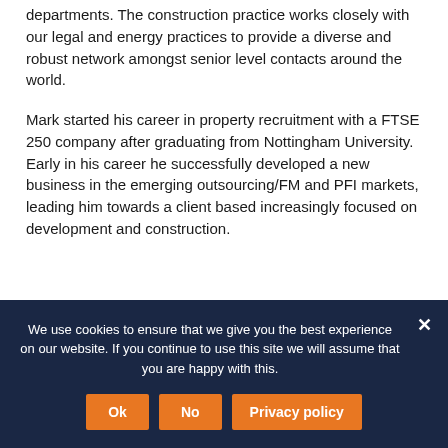departments. The construction practice works closely with our legal and energy practices to provide a diverse and robust network amongst senior level contacts around the world.
Mark started his career in property recruitment with a FTSE 250 company after graduating from Nottingham University. Early in his career he successfully developed a new business in the emerging outsourcing/FM and PFI markets, leading him towards a client based increasingly focused on development and construction.
We use cookies to ensure that we give you the best experience on our website. If you continue to use this site we will assume that you are happy with this.